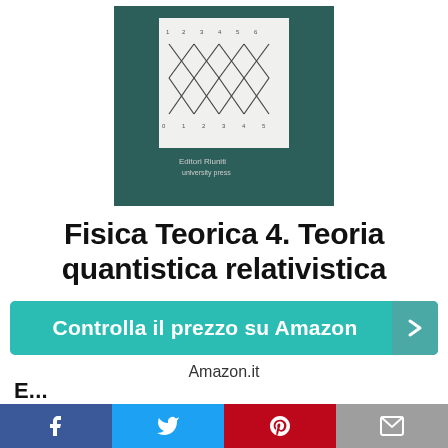[Figure (photo): Book cover of 'Fisica Teorica 4. Teoria quantistica relativistica' published by Editori Riuniti university press, dark teal/green cover with a white panel showing a mathematical diagram (Feynman-like diagram with X-crossing paths and numbers)]
Fisica Teorica 4. Teoria quantistica relativistica
Controlla il prezzo su Amazon
Amazon.it
[Figure (infographic): Social sharing bar with Facebook, Twitter, Pinterest, and email icons at the bottom of the page]